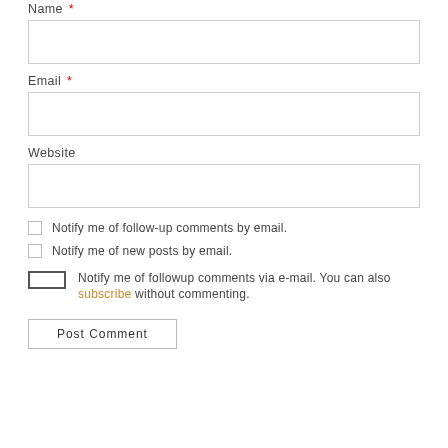Name *
[Name input field]
Email *
[Email input field]
Website
[Website input field]
Notify me of follow-up comments by email.
Notify me of new posts by email.
Notify me of followup comments via e-mail. You can also subscribe without commenting.
Post Comment